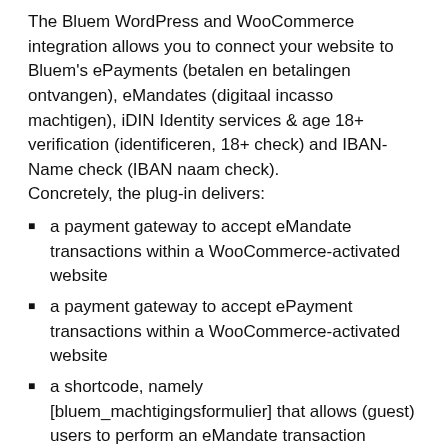The Bluem WordPress and WooCommerce integration allows you to connect your website to Bluem's ePayments (betalen en betalingen ontvangen), eMandates (digitaal incasso machtigen), iDIN Identity services & age 18+ verification (identificeren, 18+ check) and IBAN-Name check (IBAN naam check).
Concretely, the plug-in delivers:
a payment gateway to accept eMandate transactions within a WooCommerce-activated website
a payment gateway to accept ePayment transactions within a WooCommerce-activated website
a shortcode, namely [bluem_machtigingsformulier] that allows (guest) users to perform an eMandate transaction request from any post or page (no
WooCommerce checkout necessary). The...